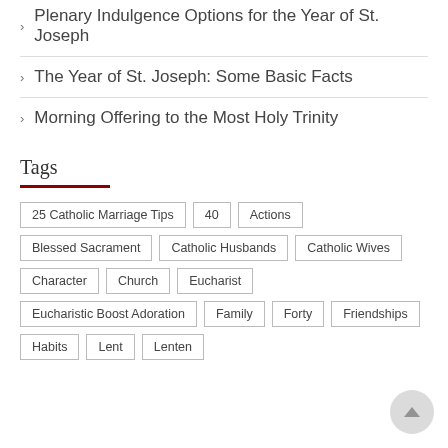Plenary Indulgence Options for the Year of St. Joseph
The Year of St. Joseph: Some Basic Facts
Morning Offering to the Most Holy Trinity
Tags
25 Catholic Marriage Tips | 40 | Actions | Blessed Sacrament | Catholic Husbands | Catholic Wives | Character | Church | Eucharist | Eucharistic Boost Adoration | Family | Forty | Friendships | Habits | Lent | Lenten